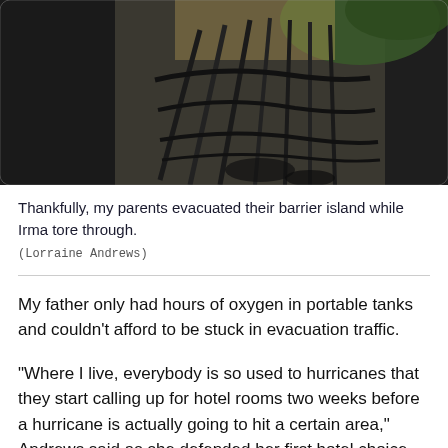[Figure (photo): Overhead or angled view of storm damage showing a metal fence or gate structure twisted and damaged, with debris visible. Background shows greenery and dark sky tones.]
Thankfully, my parents evacuated their barrier island while Irma tore through.
(Lorraine Andrews)
My father only had hours of oxygen in portable tanks and couldn't afford to be stuck in evacuation traffic.
"Where I live, everybody is so used to hurricanes that they start calling up for hotel rooms two weeks before a hurricane is actually going to hit a certain area," Andrews said as she defended her first hotel choice. "So there are hardly any